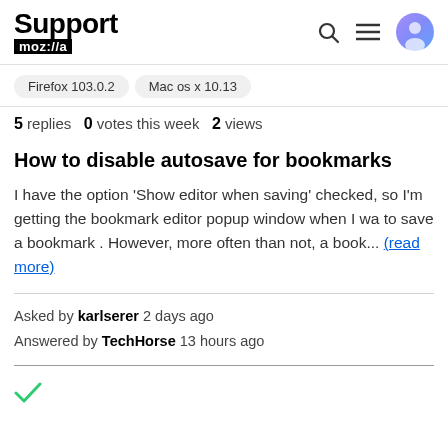Support moz://a
Firefox 103.0.2  Mac os x 10.13
5 replies  0 votes this week  2 views
How to disable autosave for bookmarks
I have the option 'Show editor when saving' checked, so I'm getting the bookmark editor popup window when I wa to save a bookmark . However, more often than not, a book... (read more)
Asked by karlserer 2 days ago
Answered by TechHorse 13 hours ago